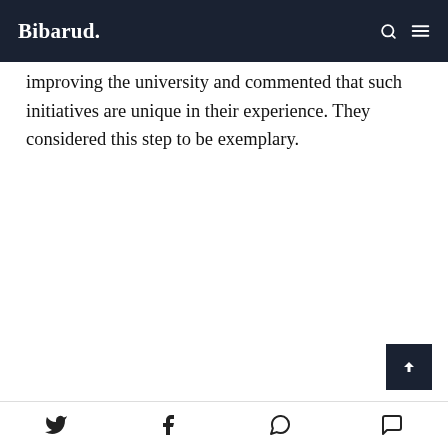Bibarud.
improving the university and commented that such initiatives are unique in their experience. They considered this step to be exemplary.
Social share icons: Twitter, Facebook, WhatsApp, Messenger